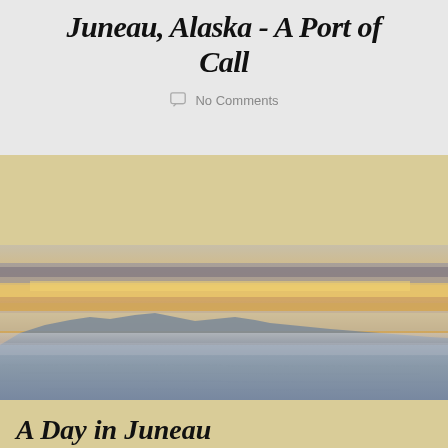Juneau, Alaska - A Port of Call
No Comments
[Figure (photo): Panoramic coastal/seascape photo of Juneau Alaska showing calm waters in foreground, distant mountain silhouettes in middle ground, and a dramatic sky with warm golden-orange sunset light and layered clouds.]
A Day in Juneau